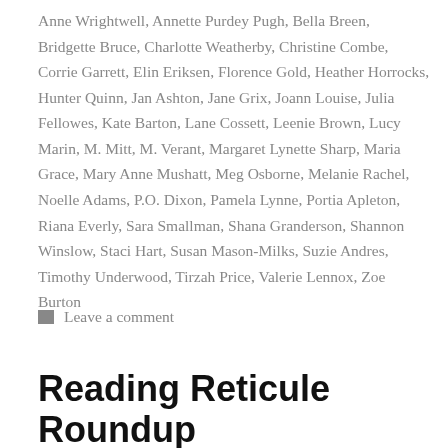Anne Wrightwell, Annette Purdey Pugh, Bella Breen, Bridgette Bruce, Charlotte Weatherby, Christine Combe, Corrie Garrett, Elin Eriksen, Florence Gold, Heather Horrocks, Hunter Quinn, Jan Ashton, Jane Grix, Joann Louise, Julia Fellowes, Kate Barton, Lane Cossett, Leenie Brown, Lucy Marin, M. Mitt, M. Verant, Margaret Lynette Sharp, Maria Grace, Mary Anne Mushatt, Meg Osborne, Melanie Rachel, Noelle Adams, P.O. Dixon, Pamela Lynne, Portia Apleton, Riana Everly, Sara Smallman, Shana Granderson, Shannon Winslow, Staci Hart, Susan Mason-Milks, Suzie Andres, Timothy Underwood, Tirzah Price, Valerie Lennox, Zoe Burton
Leave a comment
Reading Reticule Roundup March 30